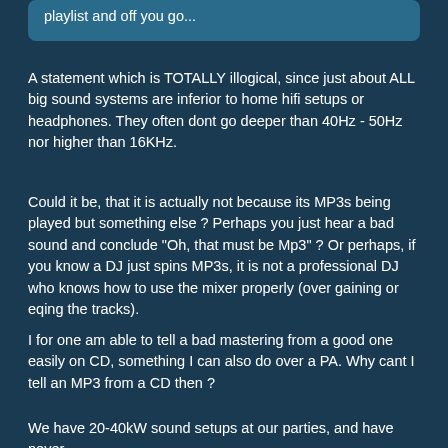playlist and off you go...
A statement which is TOTALLY illogical, since just about ALL big sound systems are inferior to home hifi setups or headphones. They often dont go deeper than 40Hz - 50Hz nor higher than 16KHz.
Could it be, that it is actually not because its MP3s being played but something else ? Perhaps you just hear a bad sound and conclude "Oh, that must be Mp3" ? Or perhaps, if you know a DJ just spins MP3s, it is not a professional DJ who knows how to use the mixer properly (over gaining or eqing the tracks).
I for one am able to tell a bad mastering from a good one easily on CD, something I can also do over a PA. Why cant I tell an MP3 from a CD then ?
We have 20-40kW sound setups at our parties, and have never